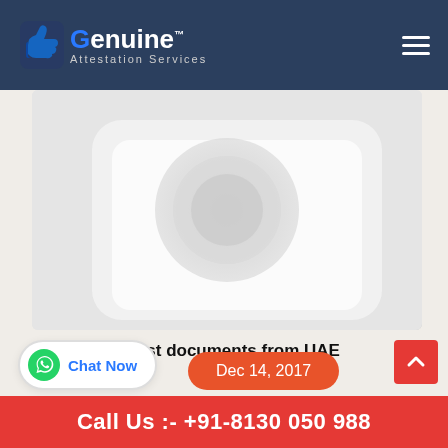Genuine Attestation Services
[Figure (photo): Blurred close-up photo of a document or stamp, light grey/white tones, rounded corners.]
How can I attest documents from UAE Embassy?
Chat Now
Dec 14, 2017
Call Us :- +91-8130 050 988